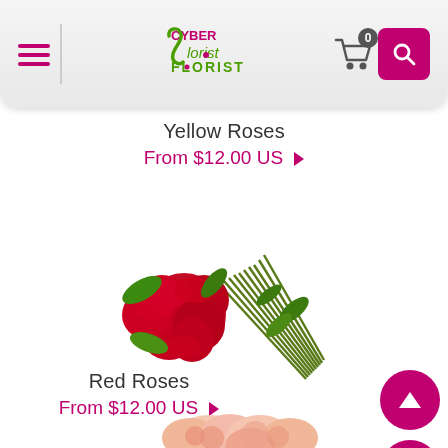[Figure (screenshot): Cyber Florist website header with hamburger menu, logo, cart icon with 0 badge, and pink search button]
Yellow Roses
From $12.00 US ▶
[Figure (photo): Bunch of red roses with green stems and leaves laid diagonally]
Red Roses
From $12.00 US ▶
[Figure (photo): Partial view of pink/peach roses bouquet at bottom of page]